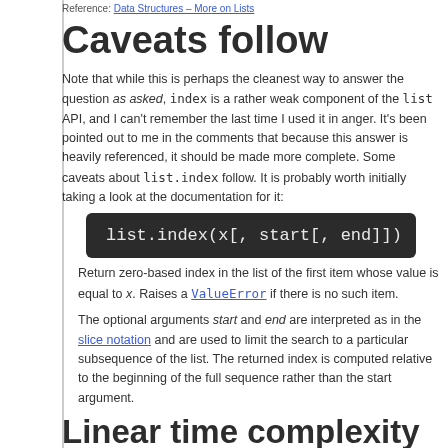Reference: Data Structures – More on Lists
Caveats follow
Note that while this is perhaps the cleanest way to answer the question as asked, index is a rather weak component of the list API, and I can't remember the last time I used it in anger. It's been pointed out to me in the comments that because this answer is heavily referenced, it should be made more complete. Some caveats about list.index follow. It is probably worth initially taking a look at the documentation for it:
[Figure (screenshot): Code block showing: list.index(x[, start[, end]])]
Return zero-based index in the list of the first item whose value is equal to x. Raises a ValueError if there is no such item.
The optional arguments start and end are interpreted as in the slice notation and are used to limit the search to a particular subsequence of the list. The returned index is computed relative to the beginning of the full sequence rather than the start argument.
Linear time complexity in list